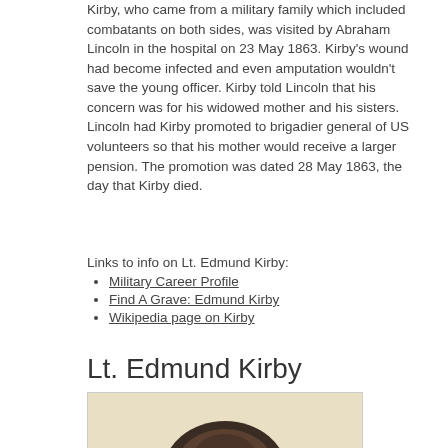Kirby, who came from a military family which included combatants on both sides, was visited by Abraham Lincoln in the hospital on 23 May 1863. Kirby's wound had become infected and even amputation wouldn't save the young officer. Kirby told Lincoln that his concern was for his widowed mother and his sisters. Lincoln had Kirby promoted to brigadier general of US volunteers so that his mother would receive a larger pension. The promotion was dated 28 May 1863, the day that Kirby died.
Links to info on Lt. Edmund Kirby:
Military Career Profile
Find A Grave: Edmund Kirby
Wikipedia page on Kirby
Lt. Edmund Kirby
[Figure (photo): Historical photograph of Lt. Edmund Kirby, showing a portrait with oval vignette style cropping, dark background around the subject's head and shoulders]